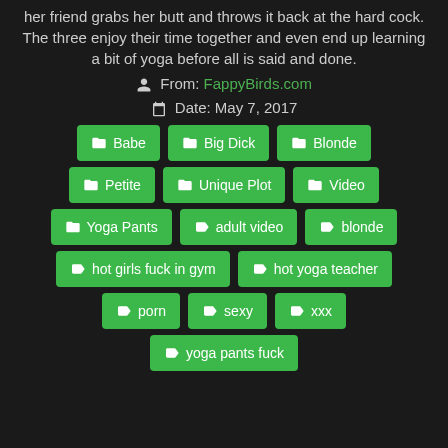her friend grabs her butt and throws it back at the hard cock. The three enjoy their time together and even end up learning a bit of yoga before all is said and done.
From: FappyBirds.com
Date: May 7, 2017
Babe
Big Dick
Blonde
Petite
Unique Plot
Video
Yoga Pants
adult video
blonde
hot girls fuck in gym
hot yoga teacher
porn
sexy
xxx
yoga pants fuck